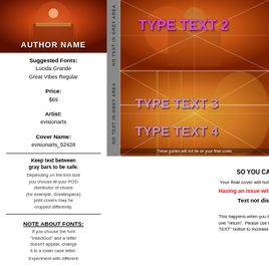[Figure (illustration): Book cover thumbnail with decorative background and author name overlay]
Suggested Fonts:
Lucida Grande
Great Vibes Regular
Price:
$69
Artist:
evisionarts
Cover Name:
evisionarts_52428
Keep text between gray bars to be safe.
Depending on the trim size you choose at your POD distributor of choice (for example, Createspace) print covers may be cropped differently.
NOTE ABOUT FONTS:
If you choose the font "InkedGod" and a letter doesn't appear, change it to a lower case letter.
Experiment with different
[Figure (illustration): Book cover guide template with NO TEXT IN GREY AREA labels, grid lines, and placeholder TYPE TEXT 2, TYPE TEXT 3, TYPE TEXT 4 overlays]
PLEASE SIGN UP
SO YOU CAN BUY OR SAVE THIS COVER
Your final cover will not have a guide on it.
Having an issue with your customization?
Text not displaying properly when you download your final file:
This happens when you break a line of text with one "return". Please use the "SPACE BETWEEN TEXT" button to increase the space between your